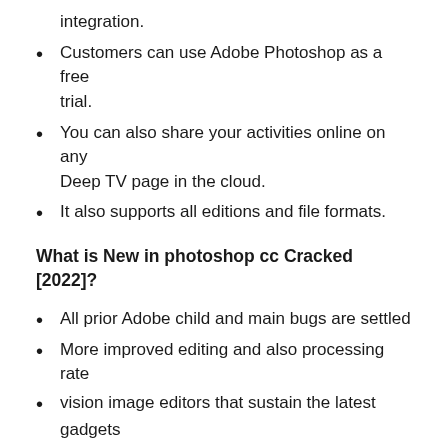integration.
Customers can use Adobe Photoshop as a free trial.
You can also share your activities online on any Deep TV page in the cloud.
It also supports all editions and file formats.
What is New in photoshop cc Cracked [2022]?
All prior Adobe child and main bugs are settled
More improved editing and also processing rate
vision image editors that sustain the latest gadgets
Also, new angular adjustment of the revised ideas for a more pleasing face